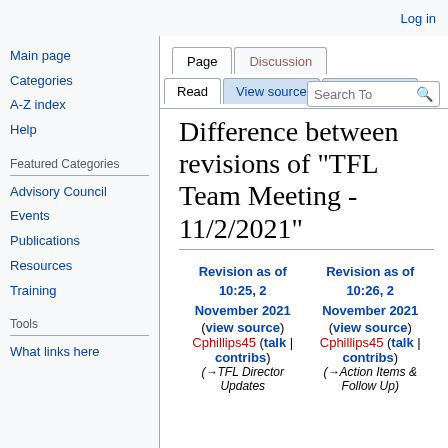Log in
Page | Discussion
Read | View source | View history | Search
Difference between revisions of "TFL Team Meeting - 11/2/2021"
Main page
Categories
A-Z index
Help
Featured Categories
Advisory Council
Events
Publications
Resources
Training
Tools
What links here
| Revision as of 10:25, 2 November 2021 | Revision as of 10:26, 2 November 2021 |
| --- | --- |
| (view source) | (view source) |
| Cphillips45 (talk | contribs) | Cphillips45 (talk | contribs) |
| (→TFL Director Updates) | (→Action Items & Follow Up) |